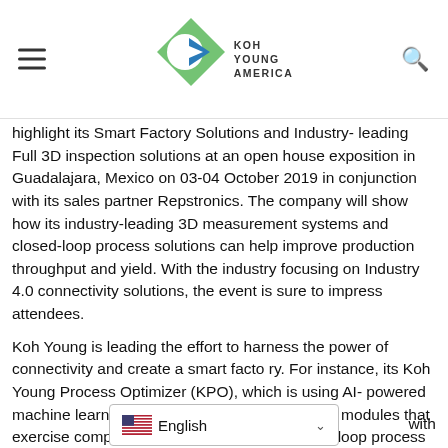Koh Young America — navigation header with logo
highlight its Smart Factory Solutions and Industry-leading Full 3D inspection solutions at an open house exposition in Guadalajara, Mexico on 03-04 October 2019 in conjunction with its sales partner Repstronics. The company will show how its industry-leading 3D measurement systems and closed-loop process solutions can help improve production throughput and yield. With the industry focusing on Industry 4.0 connectivity solutions, the event is sure to impress attendees.
Koh Young is leading the effort to harness the power of connectivity and create a smart facto ry. For instance, its Koh Young Process Optimizer (KPO), which is using AI- powered machine learning, includes interlinking software modules that exercise complex algorithms to develop closed-loop process recommendations. Additionally, Machine-to-Machine (M2M) connectivity drives the smart factory vision one step further by enabling automatic SMT line adjus... with